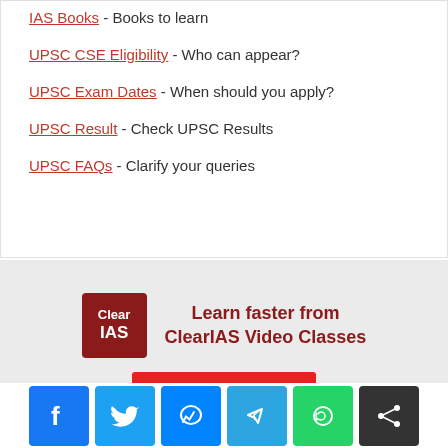IAS Books - Books to learn
UPSC CSE Eligibility - Who can appear?
UPSC Exam Dates - When should you apply?
UPSC Result - Check UPSC Results
UPSC FAQs - Clarify your queries
[Figure (infographic): ClearIAS advertisement banner with logo and 'Learn faster from ClearIAS Video Classes' text and a red Join Now button]
[Figure (infographic): Social sharing bar with Facebook, Twitter, Messenger, Telegram, WhatsApp, and Share icons]